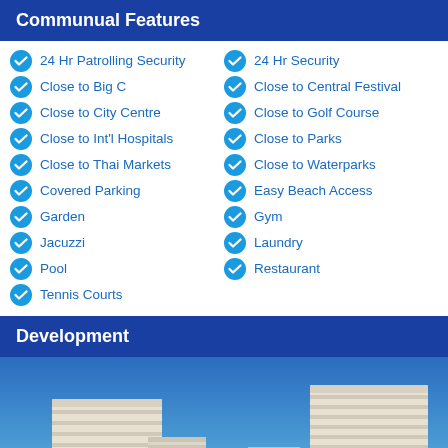Communual Features
24 Hr Patrolling Security
Close to Big C
Close to City Centre
Close to Int'l Hospitals
Close to Thai Markets
Covered Parking
Garden
Jacuzzi
Pool
Tennis Courts
24 Hr Security
Close to Central Festival
Close to Golf Course
Close to Parks
Close to Waterparks
Easy Beach Access
Gym
Laundry
Restaurant
Development
[Figure (photo): Photograph of white multi-storey condominium buildings against a blue sky]